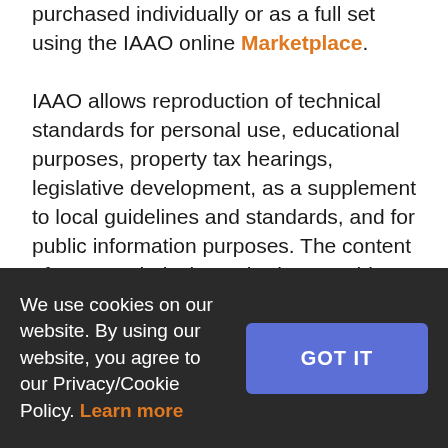purchased individually or as a full set using the IAAO online Marketplace. IAAO allows reproduction of technical standards for personal use, educational purposes, property tax hearings, legislative development, as a supplement to local guidelines and standards, and for public information purposes. The content of IAAO technical standards are subject to change. Current official versions of technical standards are available only from IAAO. When citing a technical standard in other documents it is advisable to include the date the referenced standard was approved and a link to the current version on the IAAO website. IAAO also recommends reviewing references to IAAO technical standards annually to ensure that citations remain applicable.
We use cookies on our website. By using our website, you agree to our Privacy/Cookie Policy. Learn more